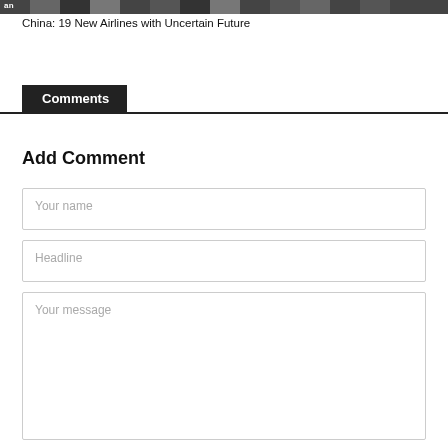[Figure (photo): Partial image strip at top of page showing silhouettes/outlines, partially cropped]
China: 19 New Airlines with Uncertain Future
Comments
Add Comment
Your name
Headline
Your message